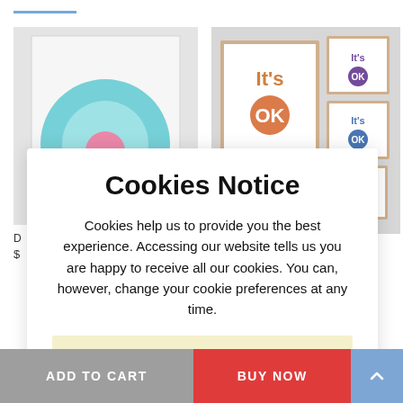[Figure (screenshot): Screenshot of an e-commerce website showing two product images: left is a circular abstract art print (teal with pink center), right is a collection of 'It's OK' typography printables in various colors. A blue underline accent is visible at the top left.]
Cookies Notice
Cookies help us to provide you the best experience. Accessing our website tells us you are happy to receive all our cookies. You can, however, change your cookie preferences at any time.
I'LL TAKE THE COOKIES
D
$
graphy Printab...
ADD TO CART    BUY NOW